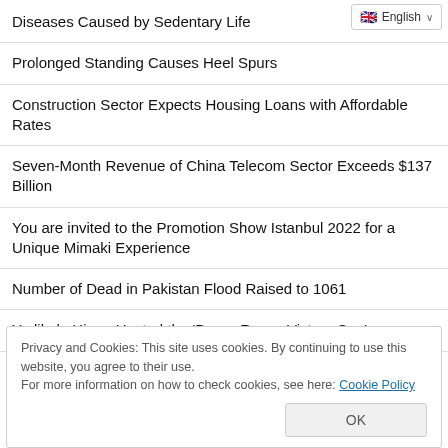Diseases Caused by Sedentary Life
Prolonged Standing Causes Heel Spurs
Construction Sector Expects Housing Loans with Affordable Rates
Seven-Month Revenue of China Telecom Sector Exceeds $137 Billion
You are invited to the Promotion Show Istanbul 2022 for a Unique Mimaki Experience
Number of Dead in Pakistan Flood Raised to 1061
Yedikule Hisarı Hosted the 'Drone Races Victory Cup'
Privacy and Cookies: This site uses cookies. By continuing to use this website, you agree to their use.
For more information on how to check cookies, see here: Cookie Policy